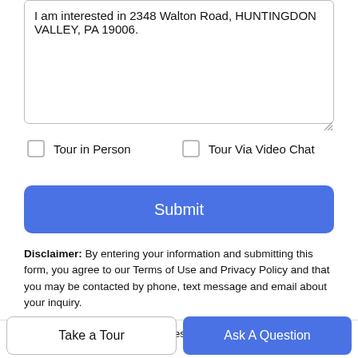I am interested in 2348 Walton Road, HUNTINGDON VALLEY, PA 19006.
Tour in Person
Tour Via Video Chat
Submit
Disclaimer: By entering your information and submitting this form, you agree to our Terms of Use and Privacy Policy and that you may be contacted by phone, text message and email about your inquiry.
©2022 Bright MLS, All Rights Reserved. IDX information is
Take a Tour
Ask A Question